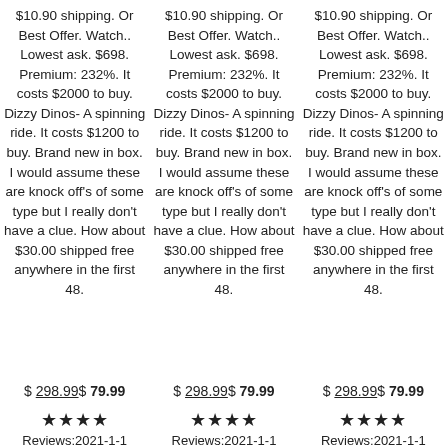$10.90 shipping. Or Best Offer. Watch.. Lowest ask. $698. Premium: 232%. It costs $2000 to buy. Dizzy Dinos- A spinning ride. It costs $1200 to buy. Brand new in box. I would assume these are knock off's of some type but I really don't have a clue. How about $30.00 shipped free anywhere in the first 48.
$10.90 shipping. Or Best Offer. Watch.. Lowest ask. $698. Premium: 232%. It costs $2000 to buy. Dizzy Dinos- A spinning ride. It costs $1200 to buy. Brand new in box. I would assume these are knock off's of some type but I really don't have a clue. How about $30.00 shipped free anywhere in the first 48.
$10.90 shipping. Or Best Offer. Watch.. Lowest ask. $698. Premium: 232%. It costs $2000 to buy. Dizzy Dinos- A spinning ride. It costs $1200 to buy. Brand new in box. I would assume these are knock off's of some type but I really don't have a clue. How about $30.00 shipped free anywhere in the first 48.
$ 298.99$ 79.99
$ 298.99$ 79.99
$ 298.99$ 79.99
★★★★
Reviews:2021-1-1
★★★★
Reviews:2021-1-1
★★★★
Reviews:2021-1-1